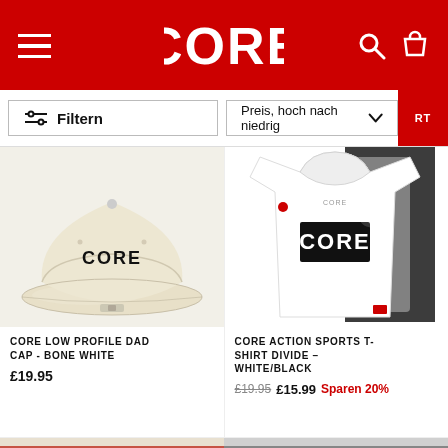CORE
Filtern
Preis, hoch nach niedrig
[Figure (photo): White/bone colored baseball cap with CORE logo embroidered in black on front panel]
CORE LOW PROFILE DAD CAP - BONE WHITE
£19.95
[Figure (photo): White t-shirt with CORE logo printed in black, multiple shirts visible stacked behind]
CORE ACTION SPORTS T-SHIRT DIVIDE – WHITE/BLACK
£19.95  £15.99  Sparen 20%
AUSVERKAUFT
AUSVERKAUFT